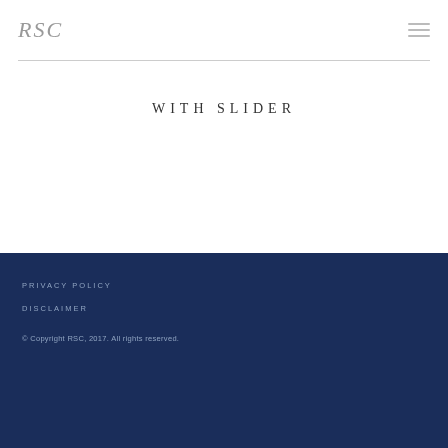RSC
WITH SLIDER
PRIVACY POLICY
DISCLAIMER
© Copyright RSC, 2017. All rights reserved.